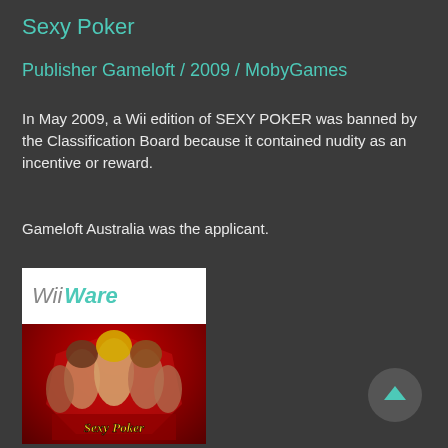Sexy Poker
Publisher Gameloft / 2009 / MobyGames
In May 2009, a Wii edition of SEXY POKER was banned by the Classification Board because it contained nudity as an incentive or reward.
Gameloft Australia was the applicant.
[Figure (illustration): Game box art for Sexy Poker on WiiWare. The top portion shows the WiiWare logo (grey 'Wii' text and teal italic 'Ware' text on white background). The lower portion shows the game cover with a red background featuring anime-style female characters and the 'Sexy Poker' logo at the bottom.]